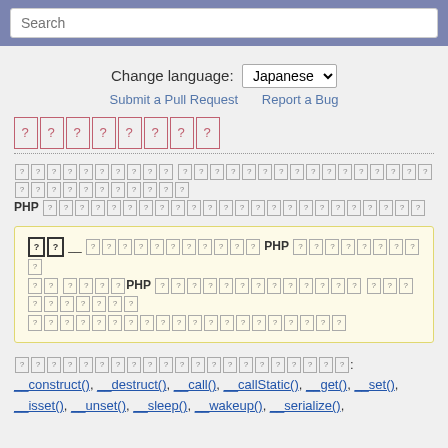Search
Change language: Japanese [dropdown]
Submit a Pull Request   Report a Bug
[Japanese characters - unreadable placeholder boxes]
[Body text with Japanese characters and PHP mention - unreadable placeholder boxes]
[Note box with Japanese characters, PHP mention, and placeholder boxes]
[Methods text]: __construct(), __destruct(), __call(), __callStatic(), __get(), __set(), __isset(), __unset(), __sleep(), __wakeup(), __serialize(),